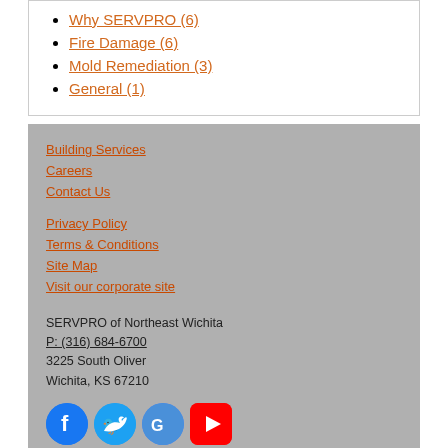Why SERVPRO (6)
Fire Damage (6)
Mold Remediation (3)
General (1)
Building Services
Careers
Contact Us
Privacy Policy
Terms & Conditions
Site Map
Visit our corporate site
SERVPRO of Northeast Wichita
P: (316) 684-6700
3225 South Oliver
Wichita, KS 67210
[Figure (other): Social media icons: Facebook, Twitter, Google, YouTube]
© Servpro Industries, LLC. – All services in the U.S. performed by independently owned and operated franchises of Servpro Industries, LLC.
© Servpro Industries (Canada) ULC – All services in Canada performed by independently owned and operated franchises of Servpro Industries (Canada) ULC.